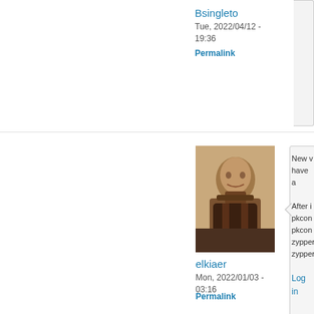Bsingleto
Tue, 2022/04/12 - 19:36
Permalink
[Figure (photo): Sepia-toned portrait photograph of a bearded man in formal Victorian attire]
elkiaer
Mon, 2022/01/03 - 03:16
Permalink
New v have a After i pkcon pkcon zypper zypper Log in
[Figure (photo): Sepia-toned portrait photograph of the same bearded man in formal Victorian attire (second instance)]
New v Log in